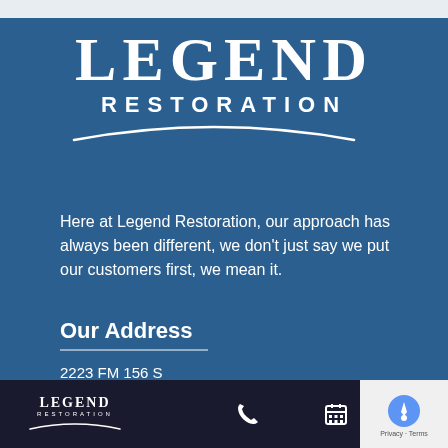[Figure (logo): Legend Restoration logo with large serif LEGEND text, RESTORATION below in sans-serif, and a white swoosh arc underneath]
Here at Legend Restoration, our approach has always been different, we don't just say we put our customers first, we mean it.
Our Address
2223 FM 156 S
Haslet, TX 76052
Map &
[Figure (logo): Legend Restoration logo small version in bottom navigation bar]